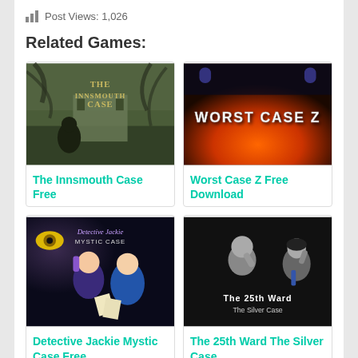Post Views: 1,026
Related Games:
[Figure (screenshot): The Innsmouth Case game cover - dark atmospheric illustration with shadowy figure and tentacles]
The Innsmouth Case Free
[Figure (screenshot): Worst Case Z game cover - dark fiery background with white grunge text logo]
Worst Case Z Free Download
[Figure (screenshot): Detective Jackie Mystic Case game cover - colorful animated characters]
Detective Jackie Mystic Case Free
[Figure (screenshot): The 25th Ward The Silver Case game cover - black and white photo style with two figures]
The 25th Ward The Silver Case